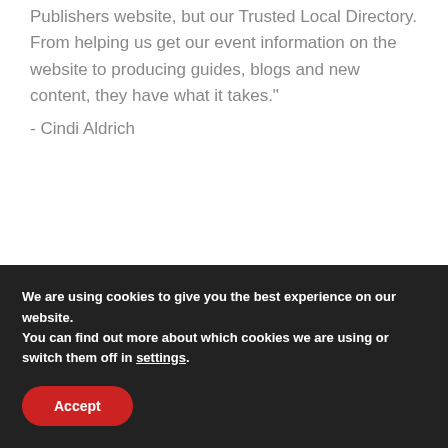Publishers website, but our Trusted Local Directory. From helping us get our event information on the website to producing guides, blogs and new content, they have what it takes."
- Cindi Aldrich
We are using cookies to give you the best experience on our website.
You can find out more about which cookies we are using or switch them off in settings.
Accept